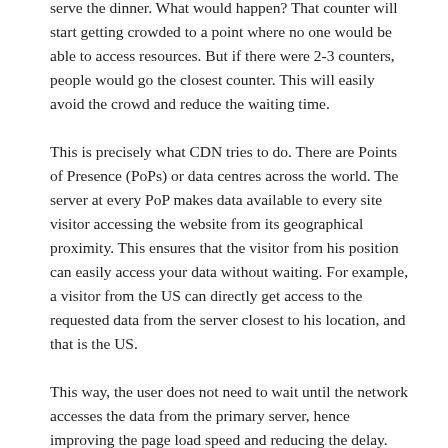go for a dinner buffet organised by your friend for his reception. There are 1000 guests and only one counter to serve the dinner. What would happen? That counter will start getting crowded to a point where no one would be able to access resources. But if there were 2-3 counters, people would go the closest counter. This will easily avoid the crowd and reduce the waiting time.
This is precisely what CDN tries to do. There are Points of Presence (PoPs) or data centres across the world. The server at every PoP makes data available to every site visitor accessing the website from its geographical proximity. This ensures that the visitor from his position can easily access your data without waiting. For example, a visitor from the US can directly get access to the requested data from the server closest to his location, and that is the US.
This way, the user does not need to wait until the network accesses the data from the primary server, hence improving the page load speed and reducing the delay.